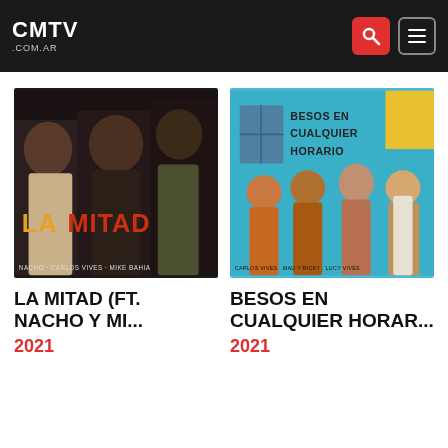CMTV .COM.AR
[Figure (photo): Album cover for La Mitad featuring Nacho, Carlos Vives, and Mike Bahia. Dark moody photo of three men with bold yellow/orange text 'LA MITAD' and artist names at bottom.]
LA MITAD (FT. NACHO Y MI...
2021
[Figure (photo): Album cover for Besos en Cualquier Horario featuring Carlos Vives, Mau y Ricky, and Lucy Vives. Colorful photo with teal wall, text 'BESOS EN CUALQUIER HORARIO' written on wall, and four people posing.]
BESOS EN CUALQUIER HORAR...
2021